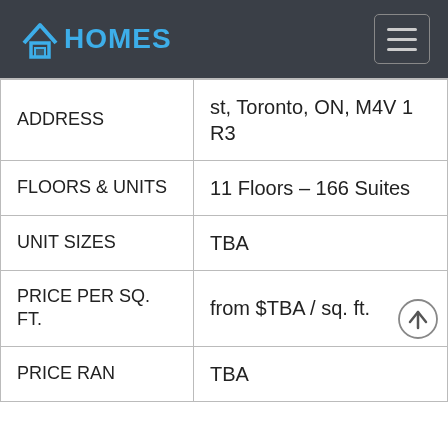PHOMES
| ADDRESS | st, Toronto, ON, M4V 1 R3 |
| FLOORS & UNITS | 11 Floors – 166 Suites |
| UNIT SIZES | TBA |
| PRICE PER SQ. FT. | from $TBA / sq. ft. |
| PRICE RAN | TBA |